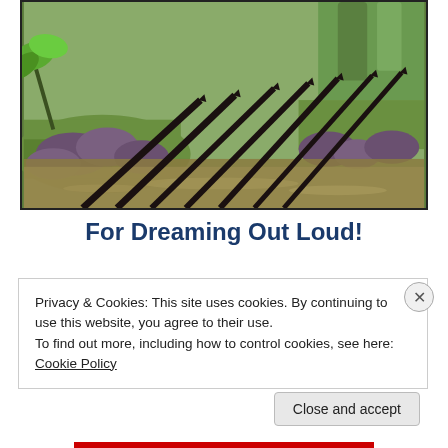[Figure (photo): Outdoor scene with a murky brown river or pond, large dark rocks, and diagonal dark wooden poles or logs arranged in a row, with tropical green vegetation and trees in the background.]
For Dreaming Out Loud!
Privacy & Cookies: This site uses cookies. By continuing to use this website, you agree to their use.
To find out more, including how to control cookies, see here: Cookie Policy